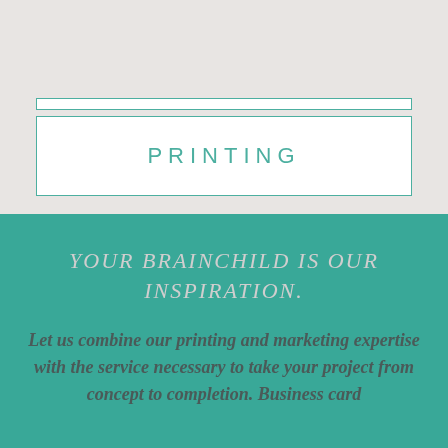PRINTING
YOUR BRAINCHILD IS OUR INSPIRATION.
Let us combine our printing and marketing expertise with the service necessary to take your project from concept to completion. Business card